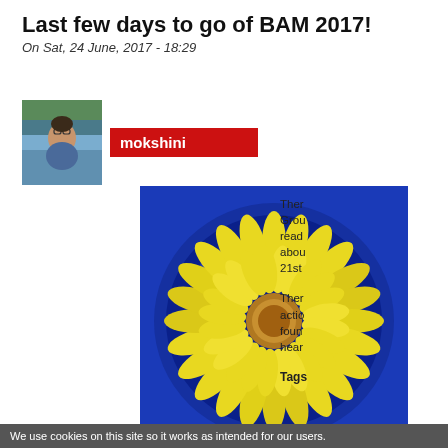Last few days to go of BAM 2017!
On Sat, 24 June, 2017 - 18:29
[Figure (photo): Profile photo of user mokshini - woman with glasses outdoors near water]
mokshini
[Figure (photo): Yellow daisy flower floating in a blue bowl of water, photographed from above]
There Group read abou 21st
There actio foun hear
Tags
We use cookies on this site so it works as intended for our users.